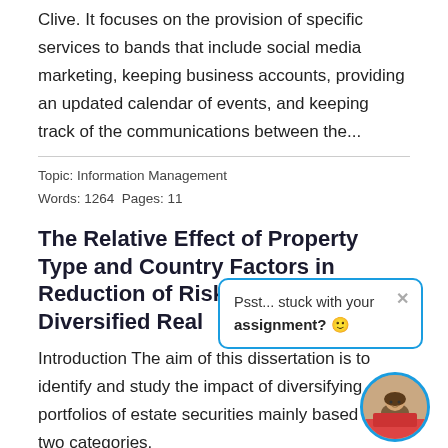Clive. It focuses on the provision of specific services to bands that include social media marketing, keeping business accounts, providing an updated calendar of events, and keeping track of the communications between the...
Topic: Information Management
Words: 1264  Pages: 11
The Relative Effect of Property Type and Country Factors in Reduction of Risk of Internationally Diversified Real
Introduction The aim of this dissertation is to identify and study the impact of diversifying portfolios of estate securities mainly based on two categories.
[Figure (infographic): A tooltip/popup overlay reading 'Psst... stuck with your assignment? 🙂' with a close (×) button, bordered in blue, with a circular avatar photo of a woman in the bottom-right corner.]